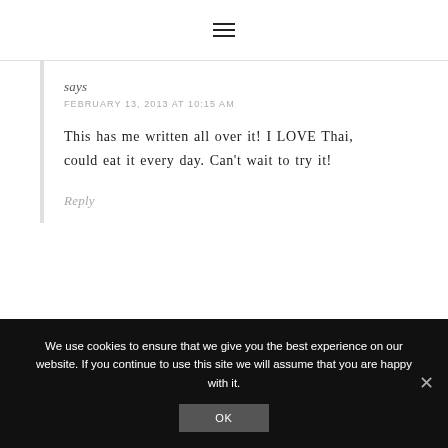☰
says
FEBRUARY 13, 2013 AT 10:15 AM
This has me written all over it! I LOVE Thai, could eat it every day. Can't wait to try it!
Reply
We use cookies to ensure that we give you the best experience on our website. If you continue to use this site we will assume that you are happy with it.
OK